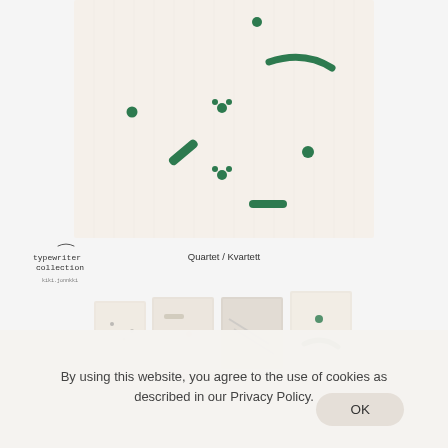[Figure (photo): Product photo of a cream/off-white ribbed fabric blanket or cloth with scattered green printed shapes including dots, dashes, a crescent, and small brush marks]
[Figure (logo): Typewriter Collection brand logo with handwritten-style text reading 'typewriter collection' and a small brand name below]
Quartet / Kvartett
[Figure (photo): Row of four product thumbnail images showing different views/colorways of the fabric product]
By using this website, you agree to the use of cookies as described in our Privacy Policy.